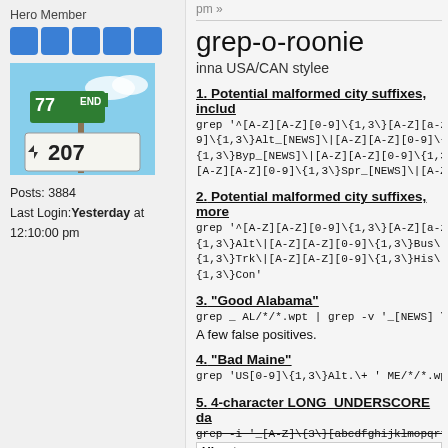Hero Member
[Figure (illustration): Five blue square star/rank icons in a row]
[Figure (photo): Avatar image showing road signs: 77 END, arrow pointing left with 207]
Posts: 3884
Last Login: Yesterday at 12:10:00 pm
pm »
grep-o-roonie
inna USA/CAN stylee
1. Potential malformed city suffixes, includ
grep '^[A-Z][A-Z][0-9]\{1,3\}[A-Z][a-z][a 9]\{1,3\}Alt_[NEWS]\|[A-Z][A-Z][0-9]\{1,3 {1,3\}Byp_[NEWS]\|[A-Z][A-Z][0-9]\{1,3\}T [A-Z][A-Z][0-9]\{1,3\}Spr_[NEWS]\|[A-Z][A
2. Potential malformed city suffixes, more
grep '^[A-Z][A-Z][0-9]\{1,3\}[A-Z][a-z][a {1,3\}Alt\|[A-Z][A-Z][0-9]\{1,3\}Bus\|[A- {1,3\}Trk\|[A-Z][A-Z][0-9]\{1,3\}His\|[A- {1,3\}Con'
3. "Good Alabama"
grep _ AL/*/*.wpt | grep -v '_[NEWS] \|_D
A few false positives.
4. "Bad Maine"
grep 'US[0-9]\{1,3\}Alt.\+ ' ME/*/*.wpt |
5. 4-character LONG_UNDERSCORE da
grep -i '_[A-Z]\{3\}[abcdfghijklmopqrtuv
Ubuntu:    grep '_...[A-DF-MO-RTUVXYZa
Error:     for zz in \$(ls *.wpt)